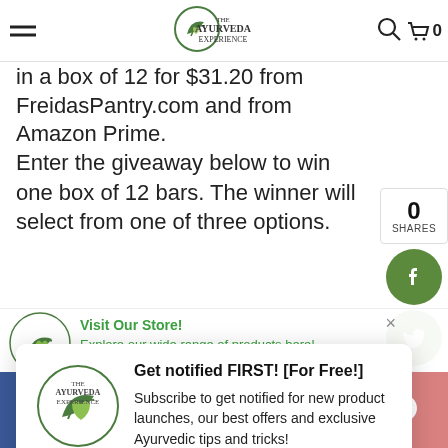The Ayurveda Experience — navigation bar with hamburger menu, logo, search icon, and cart (0)
in a box of 12 for $31.20 from FreidasPantry.com and from Amazon Prime.
Enter the giveaway below to win one box of 12 bars. The winner will select from one of three options.
[Figure (screenshot): Notification popup: 'Get notified FIRST! [For Free!]' with Ayurveda Experience logo, subscribe message, Don't Allow and Allow buttons]
Sharon Kaur founded Freida's Pantry in February 2015 after a traumatic birth with her youngest child. While Sharon recovered in the hospital, he
[Figure (screenshot): Visit Our Store popup with Ayurveda Experience logo and text 'Explore our wide range of products here!']
Social sharing buttons: Facebook, Twitter, WhatsApp, Pinterest, Messenger